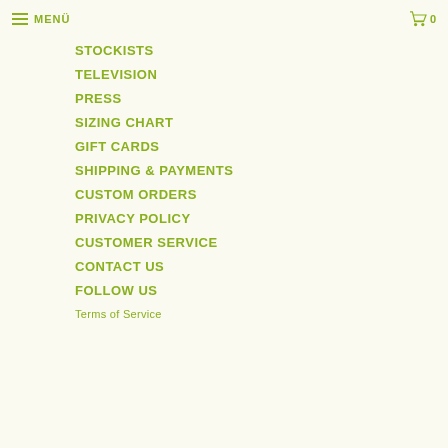MENÜ  0
STOCKISTS
TELEVISION
PRESS
SIZING CHART
GIFT CARDS
SHIPPING & PAYMENTS
CUSTOM ORDERS
PRIVACY POLICY
CUSTOMER SERVICE
CONTACT US
FOLLOW US
Terms of Service